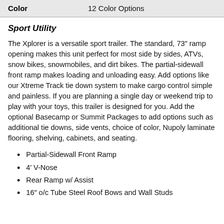| Color |  |
| --- | --- |
| Color | 12 Color Options |
Sport Utility
The Xplorer is a versatile sport trailer. The standard, 73″ ramp opening makes this unit perfect for most side by sides, ATVs, snow bikes, snowmobiles, and dirt bikes. The partial-sidewall front ramp makes loading and unloading easy. Add options like our Xtreme Track tie down system to make cargo control simple and painless. If you are planning a single day or weekend trip to play with your toys, this trailer is designed for you. Add the optional Basecamp or Summit Packages to add options such as additional tie downs, side vents, choice of color, Nupoly laminate flooring, shelving, cabinets, and seating.
Partial-Sidewall Front Ramp
4′ V-Nose
Rear Ramp w/ Assist
16″ o/c Tube Steel Roof Bows and Wall Studs